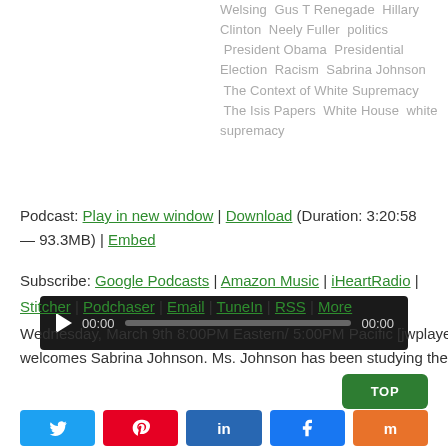Welsing  Gus T Renegade  Hillary Clinton  Neely Fuller  politics  President Obama  Presidential Election  Racism  Sabrina Johnson  The Context of White Supremacy  The Isis Papers  White House  white supremacy
[Figure (other): Audio player with play button, time display 00:00, progress bar, and end time 00:00 on dark background]
Podcast: Play in new window | Download (Duration: 3:20:58 — 93.3MB) | Embed
Subscribe: Google Podcasts | Amazon Music | iHeartRadio | Stitcher | Podchaser | Email | TuneIn | RSS | More
Wednesday, March 9th 8:00PM Eastern/ 5:00PM Pacific [jwplayer mediaid="18974"] The Context of White Supremacy welcomes Sabrina Johnson. Ms. Johnson has been studying the science of counter-racism…
[Figure (other): Share buttons: Twitter (blue), Pinterest (red), LinkedIn (dark blue), Facebook (blue), Mix (orange)]